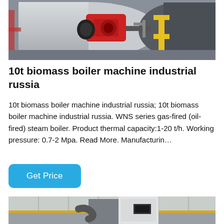[Figure (photo): Industrial boiler machine with red burner attachment and yellow gas pipe connections in a factory setting]
10t biomass boiler machine industrial russia
10t biomass boiler machine industrial russia; 10t biomass boiler machine industrial russia. WNS series gas-fired (oil-fired) steam boiler. Product thermal capacity:1-20 t/h. Working pressure: 0.7-2 Mpa. Read More. Manufacturin…
[Figure (photo): Industrial boiler or heating equipment mounted in a factory warehouse, partially visible at bottom of page]